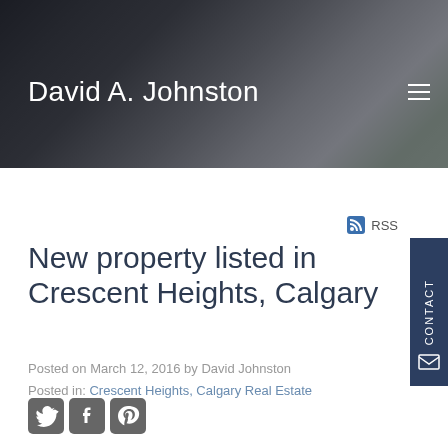David A. Johnston
RSS
New property listed in Crescent Heights, Calgary
Posted on March 12, 2016 by David Johnston
Posted in: Crescent Heights, Calgary Real Estate
[Figure (other): Social sharing icons: Twitter, Facebook, Pinterest]
[Figure (photo): Listing thumbnail photo placeholder]
I have listed a new property at 404 414 MEREDITH RD NE in